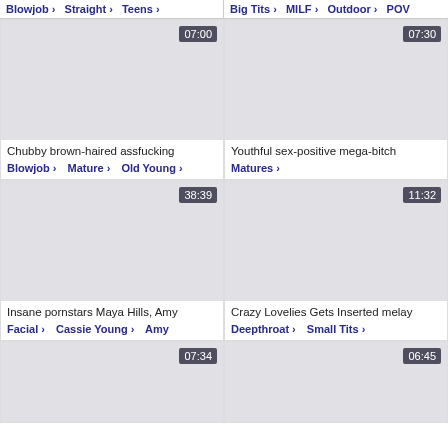Blowjob > Straight > Teens > | Big Tits > MILF > Outdoor > POV
[Figure (screenshot): Video thumbnail placeholder, gray, 07:00]
Chubby brown-haired assfucking
Blowjob > Mature > Old Young >
[Figure (screenshot): Video thumbnail placeholder, gray, 07:30]
Youthful sex-positive mega-bitch
Matures >
[Figure (screenshot): Video thumbnail placeholder, gray, 38:39]
Insane pornstars Maya Hills, Amy
Facial > Cassie Young > Amy
[Figure (screenshot): Video thumbnail placeholder, gray, 11:32]
Crazy Lovelies Gets Inserted melay
Deepthroat > Small Tits >
[Figure (screenshot): Video thumbnail placeholder, gray, 07:34]
[Figure (screenshot): Video thumbnail placeholder, gray, 06:45]